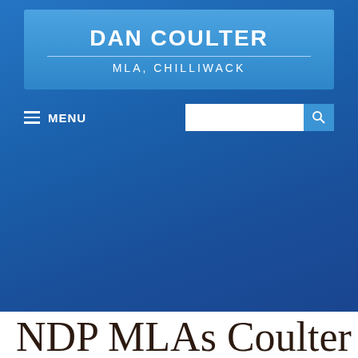DAN COULTER
MLA, CHILLIWACK
≡ MENU
NDP MLAs Coulter